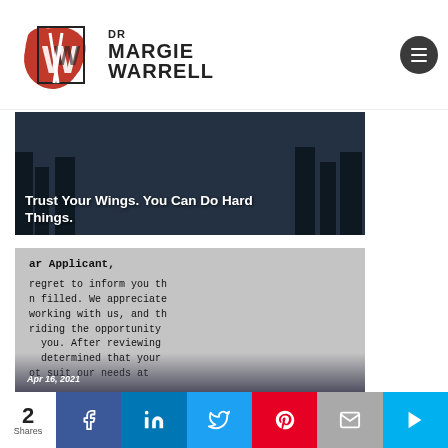DR MARGIE WARRELL
[Figure (photo): Dark blue-toned photo with white bold text overlay reading 'Trust Your Wings. You Can Do Hard Things.']
[Figure (photo): Close-up photo of a rejection letter in typewriter font, partially visible text: 'ar Applicant, ...regret to inform you th...n filled. We appreciate...working with us, and th...riding the opportunity...you. After reviewing...determined that your...ot suit our needs at...' with date Apr 16, 2021 and title 'Risk More Rejection' overlaid at bottom.]